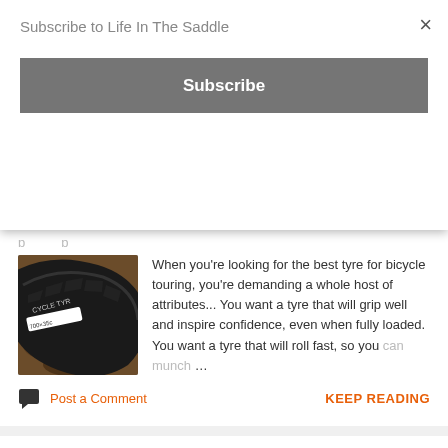Subscribe to Life In The Saddle
Subscribe
[Figure (screenshot): Partial cropped page text visible at top]
[Figure (photo): Close-up photo of a bicycle tyre tread on soil]
When you're looking for the best tyre for bicycle touring, you're demanding a whole host of attributes... You want a tyre that will grip well and inspire confidence, even when fully loaded. You want a tyre that will roll fast, so you can munch …
Post a Comment
KEEP READING
Good Reads – Vélochef by Henrik Orre
September 04, 2016